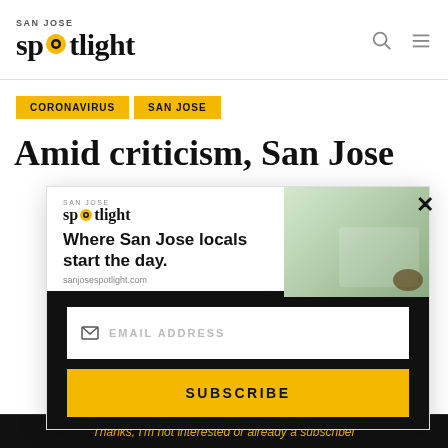SAN JOSE spotlight
CORONAVIRUS
SAN JOSE
Amid criticism, San Jose
[Figure (screenshot): San Jose Spotlight newsletter subscription popup with logo, tagline 'Where San Jose locals start the day.', sanjosespotlight.com URL, email address field, and Subscribe button]
Thanks, I'm not interested or already a subscriber